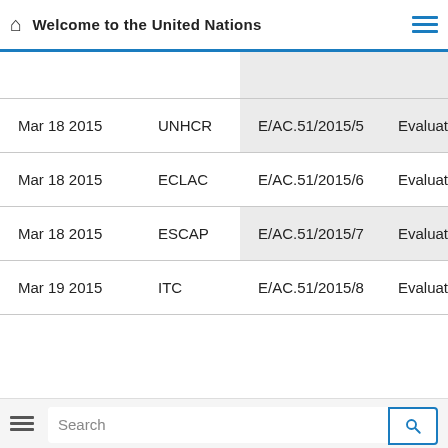Welcome to the United Nations
| Date | Entity | Document | Type |
| --- | --- | --- | --- |
| Mar 18 2015 | UNHCR | E/AC.51/2015/5 | Evaluatio |
| Mar 18 2015 | ECLAC | E/AC.51/2015/6 | Evaluatio |
| Mar 18 2015 | ESCAP | E/AC.51/2015/7 | Evaluatio |
| Mar 19 2015 | ITC | E/AC.51/2015/8 | Evaluatio |
Search